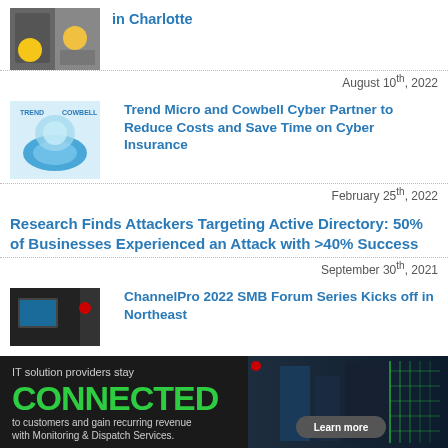in Charlotte
August 10th, 2022
Trend Micro and Cowbell Cyber Partner to Reduce Costs and Save Time on Cyber Insurance
February 25th, 2022
Research Finds Attackers Targeting Active Directory: 50% of Businesses Experienced an Attack with >40% Success
September 30th, 2021
ChannelPro 2022 SMB Forum Series Kicks off in Northeast
[Figure (infographic): Advertisement banner: IT solution providers stay CONNECTED to customers and gain recurring revenue with Monitoring & Dispatch Services. Learn more button. Dark background with server/building image on right with green grid lines.]